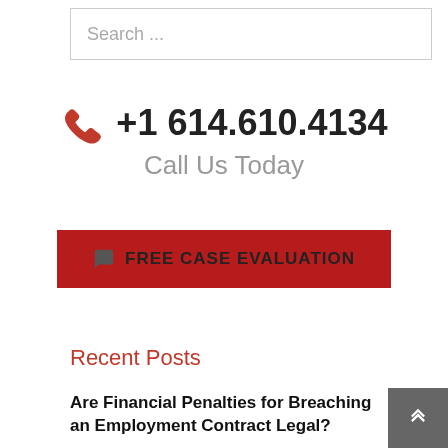Search ...
+1 614.610.4134
Call Us Today
FREE CASE EVALUATION
Recent Posts
Are Financial Penalties for Breaching an Employment Contract Legal?